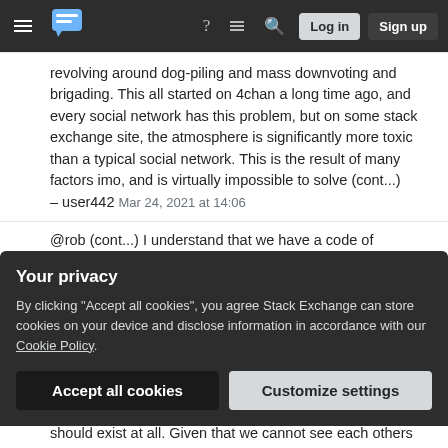Stack Exchange navigation bar with hamburger menu, logo, help, feed, search icons, Log in and Sign up buttons
revolving around dog-piling and mass downvoting and brigading. This all started on 4chan a long time ago, and every social network has this problem, but on some stack exchange site, the atmosphere is significantly more toxic than a typical social network. This is the result of many factors imo, and is virtually impossible to solve (cont...) – user442 Mar 24, 2021 at 14:06
@rob (cont...) I understand that we have a code of conduct, and I care a lot about this community and want to help improve the culture. I am completely at a loss of how to handle this. I believe in forgiveness and making jokes and trying to be friends with everyone. I don't like acting like a "hall monitor" and running "to the teacher" to "tell on" other
Your privacy
By clicking "Accept all cookies", you agree Stack Exchange can store cookies on your device and disclose information in accordance with our Cookie Policy.
Accept all cookies
Customize settings
should exist at all. Given that we cannot see each others